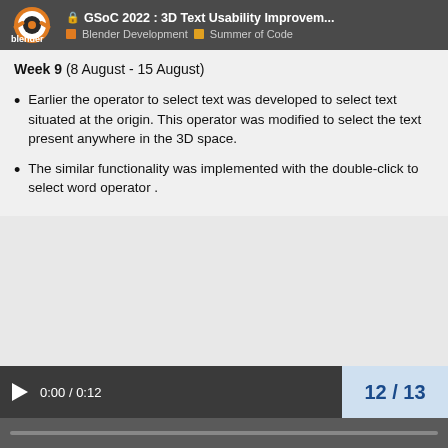GSoC 2022 : 3D Text Usability Improvem... | Blender Development | Summer of Code
Week 9 (8 August - 15 August)
Earlier the operator to select text was developed to select text situated at the origin. This operator was modified to select the text present anywhere in the 3D space.
The similar functionality was implemented with the double-click to select word operator .
0:00 / 0:12   12 / 13